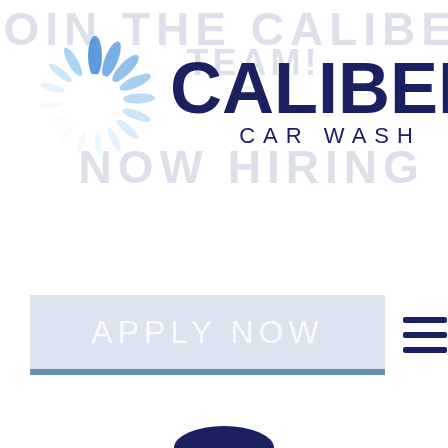[Figure (logo): Caliber Car Wash logo with spinning circular blue icon and dark navy text reading CALIBER CAR WASH. Background watermark text reads JOIN THE CALIBER TEAM! NOW HIRING.]
[Figure (other): Apply Now button banner with light blue/grey background and blue bottom border, with hamburger menu icon to the right.]
[Figure (photo): Photo of a smiling woman wearing a navy blue uniform with cap and ponytail, holding something red (likely cleaning tools), representing a Caliber Car Wash employee.]